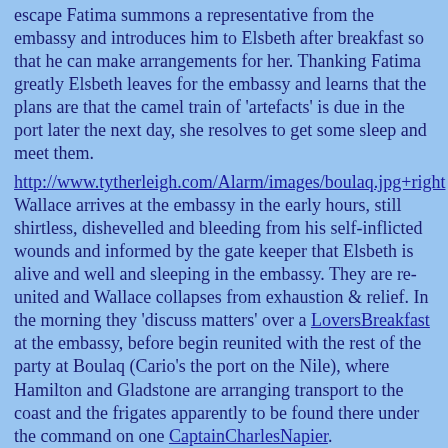escape Fatima summons a representative from the embassy and introduces him to Elsbeth after breakfast so that he can make arrangements for her. Thanking Fatima greatly Elsbeth leaves for the embassy and learns that the plans are that the camel train of 'artefacts' is due in the port later the next day, she resolves to get some sleep and meet them.
http://www.tytherleigh.com/Alarm/images/boulaq.jpg+right Wallace arrives at the embassy in the early hours, still shirtless, dishevelled and bleeding from his self-inflicted wounds and informed by the gate keeper that Elsbeth is alive and well and sleeping in the embassy. They are re-united and Wallace collapses from exhaustion & relief. In the morning they 'discuss matters' over a LoversBreakfast at the embassy, before begin reunited with the rest of the party at Boulaq (Cario's the port on the Nile), where Hamilton and Gladstone are arranging transport to the coast and the frigates apparently to be found there under the command on one CaptainCharlesNapier.
References
[final tomb map]
[The First Aga Khan - 1840]